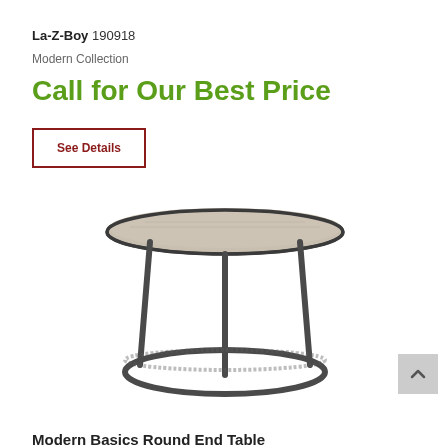La-Z-Boy 190918
Modern Collection
Call for Our Best Price
See Details
[Figure (photo): Round end table with a light wood circular top and dark metal frame with three vertical legs and a circular base ring]
Modern Basics Round End Table